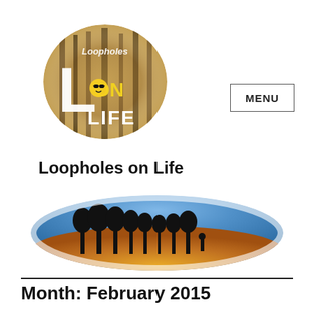[Figure (logo): Loopholes on Life logo: stylized text with 'Loopholes' over 'L', with a smiley face icon and 'LIFE' text, forest/nature background imagery with blurred bokeh effect]
[Figure (other): Menu button with border, text MENU in bold uppercase]
Loopholes on Life
[Figure (photo): Wide horizontal banner photo: silhouettes of trees and a person against a dramatic landscape with blue sky, golden fields, blurred radial effect creating an oval/lens shape]
Month: February 2015